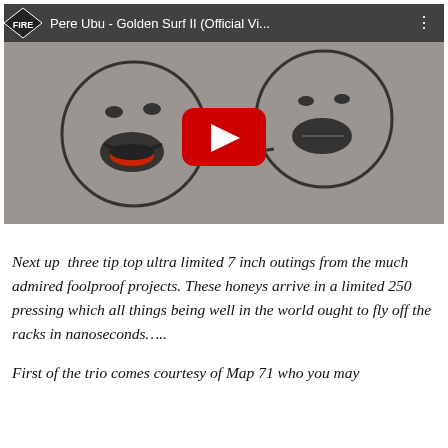[Figure (screenshot): YouTube video thumbnail showing 'Pere Ubu - Golden Surf II (Official Vi...' with Fire Records logo. The thumbnail shows two cartoon face drawings on a textured gray background with a red YouTube play button in the center.]
Next up  three tip top ultra limited 7 inch outings from the much admired foolproof projects. These honeys arrive in a limited 250 pressing which all things being well in the world ought to fly off the racks in nanoseconds…..
First of the trio comes courtesy of Map 71 who you may